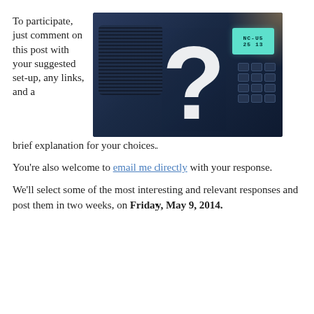To participate, just comment on this post with your suggested set-up, any links, and a brief explanation for your choices.
[Figure (photo): Photo of a blue shortwave/portable radio with a question mark overlaid in white, and a teal LCD display showing partial text]
You're also welcome to email me directly with your response.
We'll select some of the most interesting and relevant responses and post them in two weeks, on Friday, May 9, 2014.